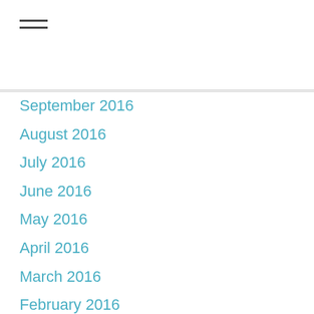[Figure (other): Hamburger menu icon with three horizontal lines]
September 2016
August 2016
July 2016
June 2016
May 2016
April 2016
March 2016
February 2016
January 2016
December 2015
November 2015
October 2015
September 2015
August 2015
July 2015
June 2015
May 2015
April 2015